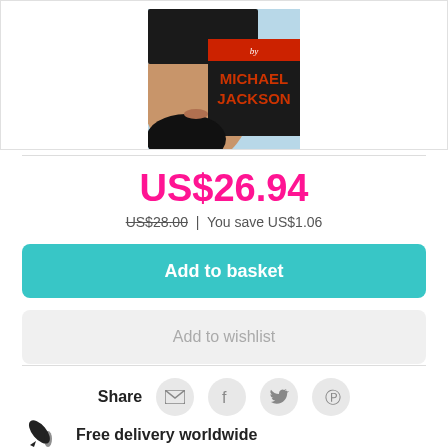[Figure (photo): Book cover for a Michael Jackson book showing partial face and title text 'by MICHAEL JACKSON']
US$26.94
US$28.00 | You save US$1.06
Add to basket
Add to wishlist
Share
Free delivery worldwide